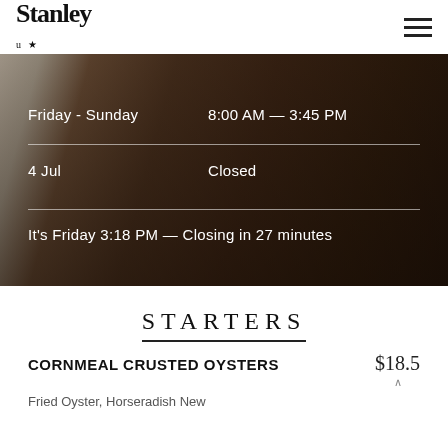[Figure (logo): Stanley restaurant logo with stylized text]
[Figure (photo): Restaurant interior with bar stools along a wooden counter, tables and chairs visible]
Friday - Sunday    8:00 AM — 3:45 PM
4 Jul    Closed
It's Friday 3:18 PM — Closing in 27 minutes
STARTERS
CORNMEAL CRUSTED OYSTERS    $18.5
Fried Oyster, Horseradish New